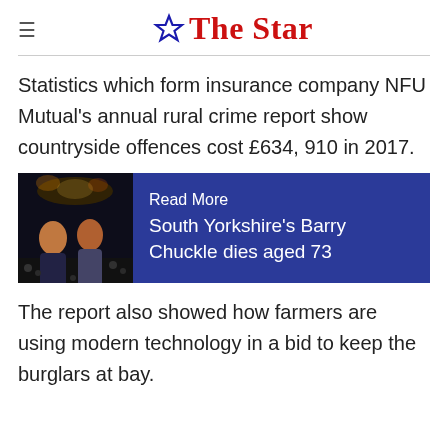≡  ☆ The Star
Statistics which form insurance company NFU Mutual's annual rural crime report show countryside offences cost £634, 910 in 2017.
[Figure (screenshot): Read More box with image of two men and blue background. Text: 'Read More / South Yorkshire's Barry Chuckle dies aged 73']
The report also showed how farmers are using modern technology in a bid to keep the burglars at bay.